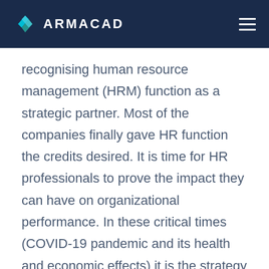ARMACAD
recognising human resource management (HRM) function as a strategic partner. Most of the companies finally gave HR function the credits desired. It is time for HR professionals to prove the impact they can have on organizational performance. In these critical times (COVID-19 pandemic and its health and economic effects) it is the strategy of human resource management that